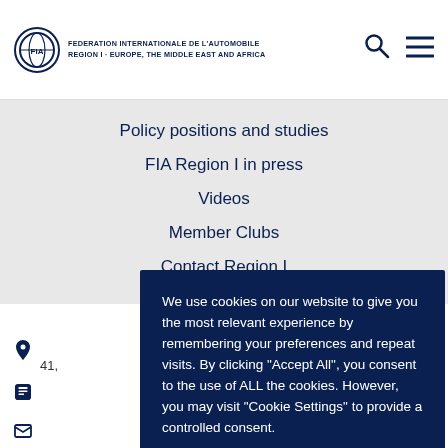FEDERATION INTERNATIONALE DE L'AUTOMOBILE REGION I - EUROPE, THE MIDDLE EAST AND AFRICA
Policy positions and studies
FIA Region I in press
Videos
Member Clubs
Contact Region I
41,
We use cookies on our website to give you the most relevant experience by remembering your preferences and repeat visits. By clicking "Accept All", you consent to the use of ALL the cookies. However, you may visit "Cookie Settings" to provide a controlled consent.
Cookie Settings | Accept All